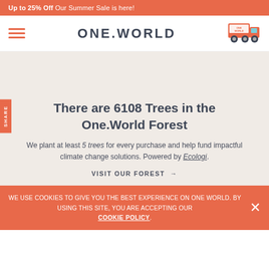Up to 25% Off Our Summer Sale is here!
ONE.WORLD
There are 6108 Trees in the One.World Forest
We plant at least 5 trees for every purchase and help fund impactful climate change solutions. Powered by Ecologi.
VISIT OUR FOREST →
WE USE COOKIES TO GIVE YOU THE BEST EXPERIENCE ON ONE WORLD. BY USING THIS SITE, YOU ARE ACCEPTING OUR COOKIE POLICY.